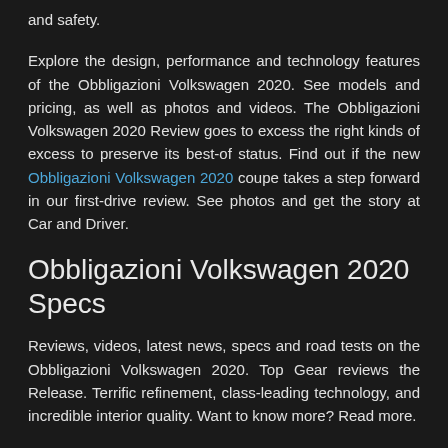and safety.
Explore the design, performance and technology features of the Obbligazioni Volkswagen 2020. See models and pricing, as well as photos and videos. The Obbligazioni Volkswagen 2020 Review goes to excess the right kinds of excess to preserve its best-of status. Find out if the new Obbligazioni Volkswagen 2020 coupe takes a step forward in our first-drive review. See photos and get the story at Car and Driver.
Obbligazioni Volkswagen 2020 Specs
Reviews, videos, latest news, specs and road tests on the Obbligazioni Volkswagen 2020. Top Gear reviews the Release. Terrific refinement, class-leading technology, and incredible interior quality. Want to know more? Read more.